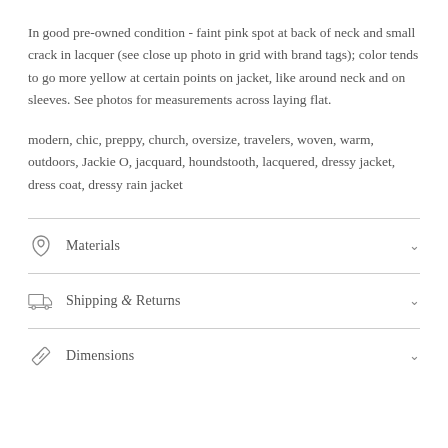In good pre-owned condition - faint pink spot at back of neck and small crack in lacquer (see close up photo in grid with brand tags); color tends to go more yellow at certain points on jacket, like around neck and on sleeves. See photos for measurements across laying flat.
modern, chic, preppy, church, oversize, travelers, woven, warm, outdoors, Jackie O, jacquard, houndstooth, lacquered, dressy jacket, dress coat, dressy rain jacket
Materials
Shipping & Returns
Dimensions